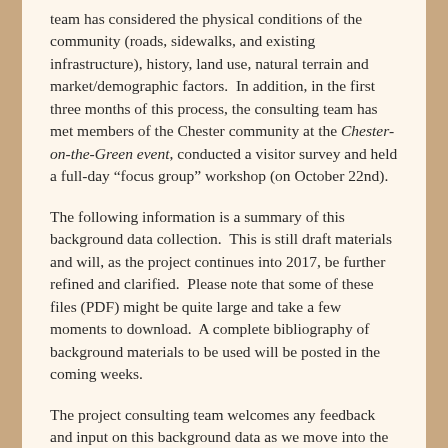team has considered the physical conditions of the community (roads, sidewalks, and existing infrastructure), history, land use, natural terrain and market/demographic factors.  In addition, in the first three months of this process, the consulting team has met members of the Chester community at the Chester-on-the-Green event, conducted a visitor survey and held a full-day “focus group” workshop (on October 22nd).
The following information is a summary of this background data collection.  This is still draft materials and will, as the project continues into 2017, be further refined and clarified.  Please note that some of these files (PDF) might be quite large and take a few moments to download.  A complete bibliography of background materials to be used will be posted in the coming weeks.
The project consulting team welcomes any feedback and input on this background data as we move into the next